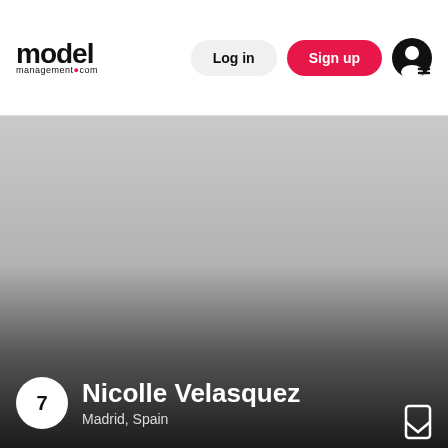model management.com — Log in | Sign up
[Figure (photo): Model profile photo background, showing a gradient from light gray to dark gray/black, used as a background for a model portfolio card.]
7
Nicolle Velasquez
Madrid, Spain